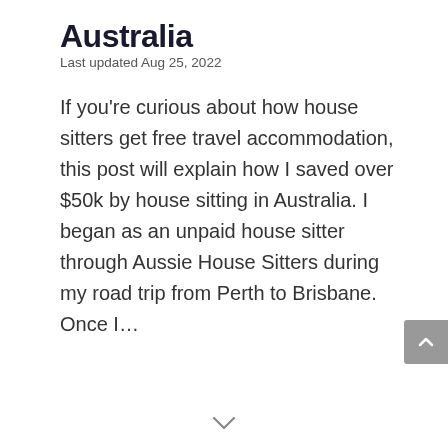Australia
Last updated Aug 25, 2022
If you're curious about how house sitters get free travel accommodation, this post will explain how I saved over $50k by house sitting in Australia. I began as an unpaid house sitter through Aussie House Sitters during my road trip from Perth to Brisbane. Once I…